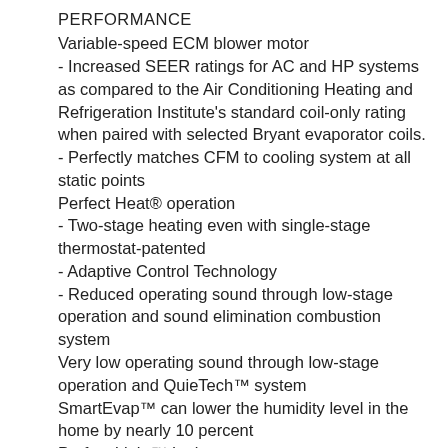PERFORMANCE
Variable-speed ECM blower motor
- Increased SEER ratings for AC and HP systems as compared to the Air Conditioning Heating and Refrigeration Institute's standard coil-only rating when paired with selected Bryant evaporator coils.
- Perfectly matches CFM to cooling system at all static points
Perfect Heat® operation
- Two-stage heating even with single-stage thermostat-patented
- Adaptive Control Technology
- Reduced operating sound through low-stage operation and sound elimination combustion system
Very low operating sound through low-stage operation and QuieTech™ system
SmartEvap™ can lower the humidity level in the home by nearly 10 percent
Perfect Light™ Igniter
Microprocessor based control center
- Enhanced diagnostics with LED and reflective